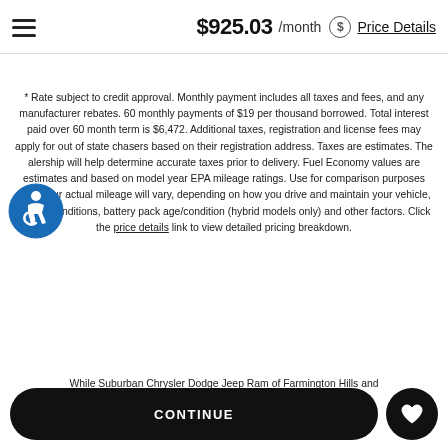$925.03 /month Price Details
* Rate subject to credit approval. Monthly payment includes all taxes and fees, and any manufacturer rebates. 60 monthly payments of $19 per thousand borrowed. Total interest paid over 60 month term is $6,472. Additional taxes, registration and license fees may apply for out of state chasers based on their registration address. Taxes are estimates. The alership will help determine accurate taxes prior to delivery. Fuel Economy values are estimates and based on model year EPA mileage ratings. Use for comparison purposes only. Your actual mileage will vary, depending on how you drive and maintain your vehicle, driving conditions, battery pack age/condition (hybrid models only) and other factors. Click the price details link to view detailed pricing breakdown.
While Suburban Chrysler Dodge Jeep Ram of Farmington Hills and
CONTINUE